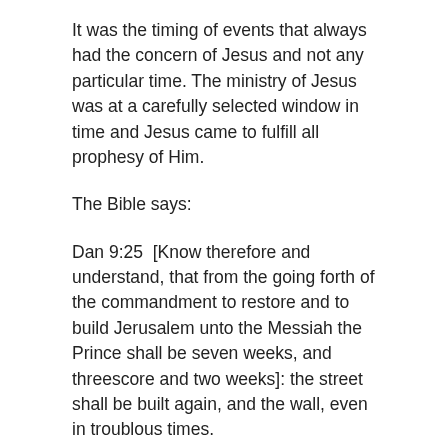It was the timing of events that always had the concern of Jesus and not any particular time. The ministry of Jesus was at a carefully selected window in time and Jesus came to fulfill all prophesy of Him.
The Bible says:
Dan 9:25  [Know therefore and understand, that from the going forth of the commandment to restore and to build Jerusalem unto the Messiah the Prince shall be seven weeks, and threescore and two weeks]: the street shall be built again, and the wall, even in troublous times.
Dan 9:26  [And after threescore and two weeks shall Messiah be cut off, but not for himself]: and the people of the prince that shall come shall destroy the city and the sanctuary: and the end thereof shall be with a flood,